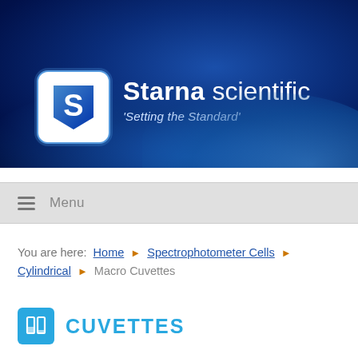[Figure (logo): Starna Scientific logo banner with blue gradient background, white 'S' logo in rounded square, brand name 'Starna scientific' and tagline 'Setting the Standard']
Menu
You are here: Home › Spectrophotometer Cells › Cylindrical › Macro Cuvettes
CUVETTES